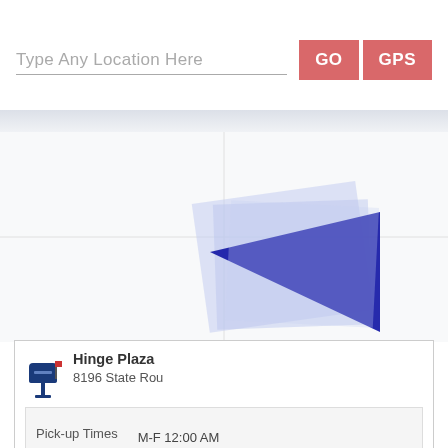Type Any Location Here
GO
GPS
[Figure (screenshot): Map area with a blue arrow/cursor overlay indicating a location selection on a map]
Hinge Plaza
8196 State Rou[te]
Pick-up Times    M-F 12:00 AM
                 SAT 12:00 AM
13304
Post Office Lobby